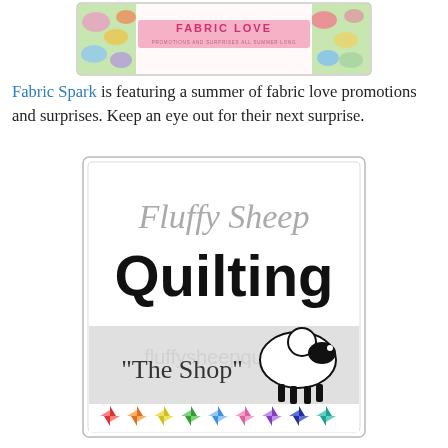[Figure (photo): Fabric Love promotional banner with colorful fabric and text 'FABRIC LOVE - PROMOTIONS AND SURPRISES ALL SUMMER LONG']
Fabric Spark is featuring a summer of fabric love promotions and surprises. Keep an eye out for their next surprise.
[Figure (logo): Fluffy Sheep Quilting - The Shop logo with black sheep silhouette, large bold 'Quilting' text, and colorful pinwheel quilt block icons at the bottom]